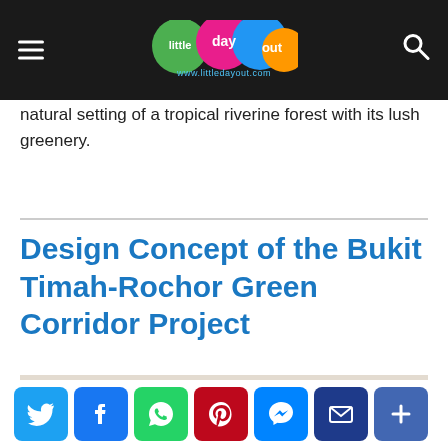little day out — www.littledayout.com
natural setting of a tropical riverine forest with its lush greenery.
Design Concept of the Bukit Timah-Rochor Green Corridor Project
[Figure (photo): Faded outdoor nature photo, likely showing the Green Corridor or forested area]
[Figure (infographic): Social media share buttons: Twitter, Facebook, WhatsApp, Pinterest, Messenger, Email, More]